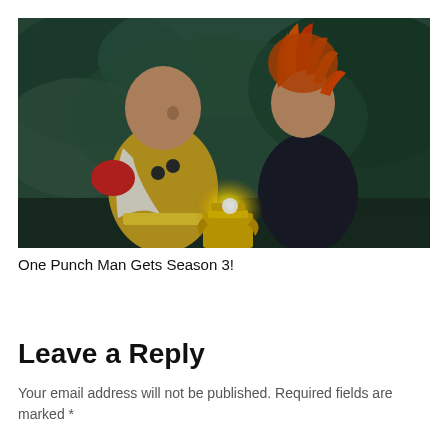[Figure (illustration): Anime illustration from One Punch Man showing two characters: Saitama (bald man in yellow and white superhero suit with red gloves, clenched fist) on the left and another character with spiky orange/red hair in a dark outfit on the right, standing back to back with a glowing light between them against a dark teal cloudy background.]
One Punch Man Gets Season 3!
Leave a Reply
Your email address will not be published. Required fields are marked *